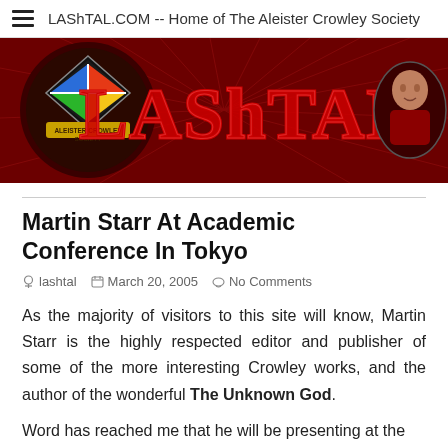LAShTAL.COM -- Home of The Aleister Crowley Society
[Figure (illustration): LAShTAL banner with red background, logo of Aleister Crowley Society on left, large LAShTAL text in center, portrait of Aleister Crowley on right]
Martin Starr At Academic Conference In Tokyo
lashtal   March 20, 2005   No Comments
As the majority of visitors to this site will know, Martin Starr is the highly respected editor and publisher of some of the more interesting Crowley works, and the author of the wonderful The Unknown God.
Word has reached me that he will be presenting at the